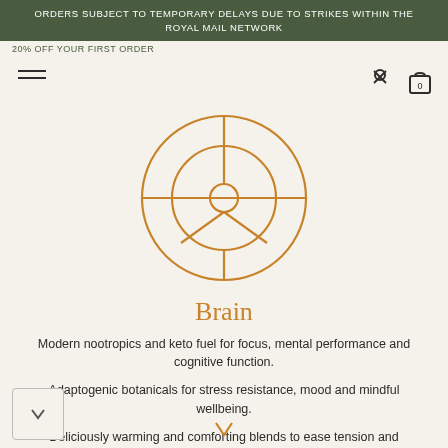ORDERS SUBJECT TO TEMPORARY DELAYS DUE TO STRIKES WITHIN THE ROYAL MAIL NETWORK
20% OFF YOUR FIRST ORDER
[Figure (logo): Circular brain/radar icon with concentric rings and cross lines in golden/amber color]
Brain
Modern nootropics and keto fuel for focus, mental performance and cognitive function.
Adaptogenic botanicals for stress resistance, mood and mindful wellbeing.
Deliciously warming and comforting blends to ease tension and overwhelm.